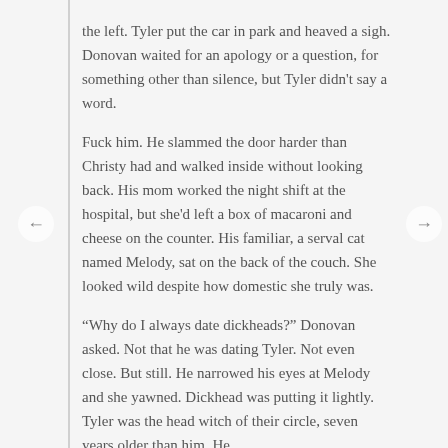the left. Tyler put the car in park and heaved a sigh. Donovan waited for an apology or a question, for something other than silence, but Tyler didn't say a word.
Fuck him. He slammed the door harder than Christy had and walked inside without looking back. His mom worked the night shift at the hospital, but she'd left a box of macaroni and cheese on the counter. His familiar, a serval cat named Melody, sat on the back of the couch. She looked wild despite how domestic she truly was.
“Why do I always date dickheads?” Donovan asked. Not that he was dating Tyler. Not even close. But still. He narrowed his eyes at Melody and she yawned. Dickhead was putting it lightly. Tyler was the head witch of their circle, seven years older than him. He